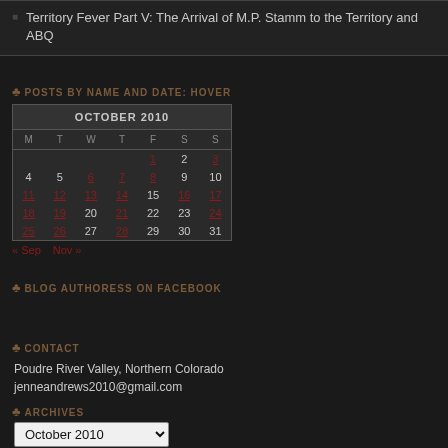Territory Fever Part V: The Arrival of M.P. Stamm to the Territory and ABQ
POSTS BY NAME AND DATE: HOVER
| M | T | W | T | F | S | S |
| --- | --- | --- | --- | --- | --- | --- |
|  |  |  |  | 1 | 2 | 3 |
| 4 | 5 | 6 | 7 | 8 | 9 | 10 |
| 11 | 12 | 13 | 14 | 15 | 16 | 17 |
| 18 | 19 | 20 | 21 | 22 | 23 | 24 |
| 25 | 26 | 27 | 28 | 29 | 30 | 31 |
BLOG AUTHORESS ON FACEBOOK
CONTACT
Poudre River Valley, Northern Colorado
jenneandrews2010@gmail.com
ARCHIVES
October 2010